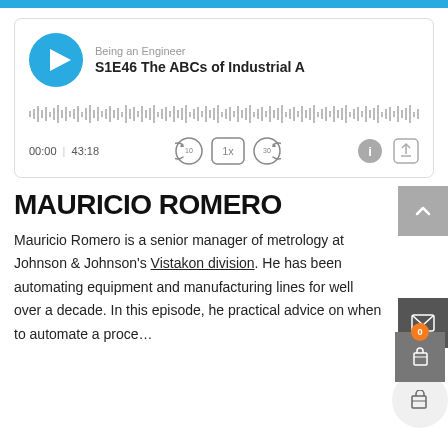[Figure (screenshot): Podcast player card showing 'Being an Engineer' podcast, episode 'S1E46 The ABCs of Industrial A', with play button, waveform, time display 00:00 | 43:18, and playback controls]
MAURICIO ROMERO
Mauricio Romero is a senior manager of metrology at Johnson & Johnson's Vistakon division. He has been automating equipment and manufacturing lines for well over a decade. In this episode, he practical advice on when to automate a proce...